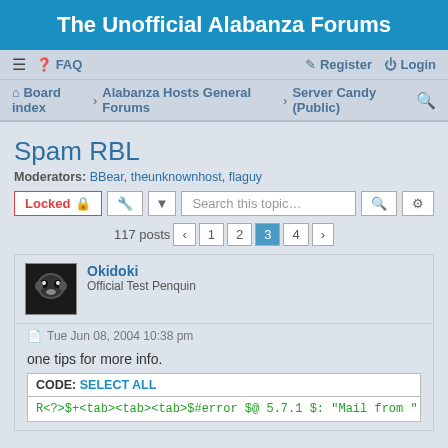The Unofficial Alabanza Forums
≡  FAQ    Register  Login
Board index › Alabanza Hosts General Forums › Server Candy (Public)
Spam RBL
Moderators: BBear, theunknownhost, flaguy
Locked  [tool] [▼]  Search this topic...  [search] [gear]
117 posts  ‹  1  2  3  4  ›
Okidoki
Official Test Penquin
Tue Jun 08, 2004 10:38 pm
one tips for more info.
CODE: SELECT ALL
R<?>$+<tab><tab><tab>$#error $@ 5.7.1 $: "Mail from " $&{cli